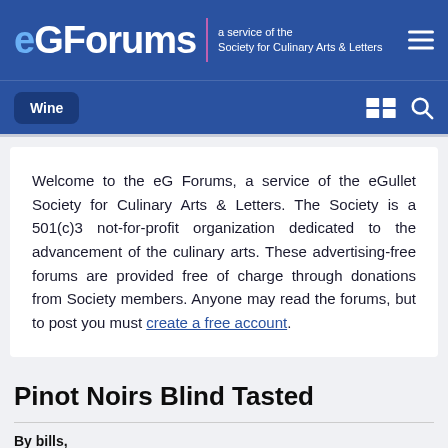eGForums — a service of the Society for Culinary Arts & Letters
Wine
Welcome to the eG Forums, a service of the eGullet Society for Culinary Arts & Letters. The Society is a 501(c)3 not-for-profit organization dedicated to the advancement of the culinary arts. These advertising-free forums are provided free of charge through donations from Society members. Anyone may read the forums, but to post you must create a free account.
Pinot Noirs Blind Tasted
By bills,
May 2, 2007 in Wine